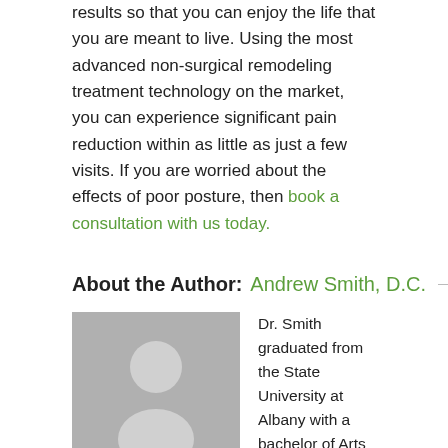results so that you can enjoy the life that you are meant to live. Using the most advanced non-surgical remodeling treatment technology on the market, you can experience significant pain reduction within as little as just a few visits. If you are worried about the effects of poor posture, then book a consultation with us today.
About the Author: Andrew Smith, D.C.
[Figure (illustration): Generic grey placeholder avatar silhouette of a person, used as author photo]
Dr. Smith graduated from the State University at Albany with a bachelor of Arts degree in Psychology. He continued his studies and received his Doctor of Chiropractic degree from Life University in Atlanta. Many years in practice and thousands of patients has lead Dr. Smith to develop the A.S. remodeling procedure. These unique protocols address the triad of headaches, neck pain and TMJD. He uses state of the art, FDA approved technology called ITRAC to help reposition the cervical